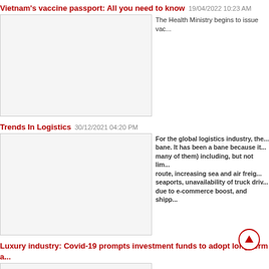Vietnam's vaccine passport: All you need to know 19/04/2022 10:23 AM
[Figure (photo): Thumbnail image for vaccine passport article]
The Health Ministry begins to issue vac...
Trends In Logistics 30/12/2021 04:20 PM
[Figure (photo): Thumbnail image for logistics trends article]
For the global logistics industry, the... bane. It has been a bane because it... many of them) including, but not lim... route, increasing sea and air freig... seaports, unavailability of truck driv... due to e-commerce boost, and shipp...
Luxury industry: Covid-19 prompts investment funds to adopt long-term a...
[Figure (photo): Thumbnail image for luxury industry article]